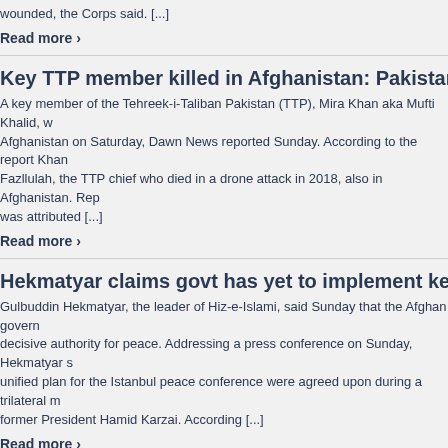wounded, the Corps said. [...]
Read more ›
Key TTP member killed in Afghanistan: Pakistan media rep…
A key member of the Tehreek-i-Taliban Pakistan (TTP), Mira Khan aka Mufti Khalid, was killed in Afghanistan on Saturday, Dawn News reported Sunday. According to the report Khan… Fazllulah, the TTP chief who died in a drone attack in 2018, also in Afghanistan. Rep… was attributed [...]
Read more ›
Hekmatyar claims govt has yet to implement key decisions…
Gulbuddin Hekmatyar, the leader of Hiz-e-Islami, said Sunday that the Afghan govern… decisive authority for peace. Addressing a press conference on Sunday, Hekmatyar s… unified plan for the Istanbul peace conference were agreed upon during a trilateral m… former President Hamid Karzai. According [...]
Read more ›
1 2 3 … 23 NEXT →